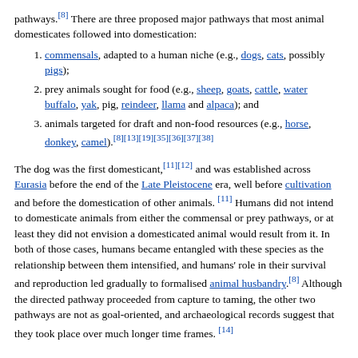pathways.[8] There are three proposed major pathways that most animal domesticates followed into domestication:
commensals, adapted to a human niche (e.g., dogs, cats, possibly pigs);
prey animals sought for food (e.g., sheep, goats, cattle, water buffalo, yak, pig, reindeer, llama and alpaca); and
animals targeted for draft and non-food resources (e.g., horse, donkey, camel).[8][13][19][35][36][37][38]
The dog was the first domesticant,[11][12] and was established across Eurasia before the end of the Late Pleistocene era, well before cultivation and before the domestication of other animals. [11] Humans did not intend to domesticate animals from either the commensal or prey pathways, or at least they did not envision a domesticated animal would result from it. In both of those cases, humans became entangled with these species as the relationship between them intensified, and humans' role in their survival and reproduction led gradually to formalised animal husbandry.[8] Although the directed pathway proceeded from capture to taming, the other two pathways are not as goal-oriented, and archaeological records suggest that they took place over much longer time frames. [14]